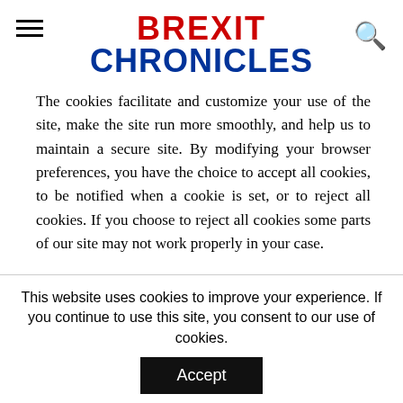BREXIT CHRONICLES
The cookies facilitate and customize your use of the site, make the site run more smoothly, and help us to maintain a secure site. By modifying your browser preferences, you have the choice to accept all cookies, to be notified when a cookie is set, or to reject all cookies. If you choose to reject all cookies some parts of our site may not work properly in your case.

We may use an outside ad serving company to display banner advertisements on our site. We will not provide any third-party ad server with any of your Personally Identifiable Information or information about your purchase. We also
This website uses cookies to improve your experience. If you continue to use this site, you consent to our use of cookies.